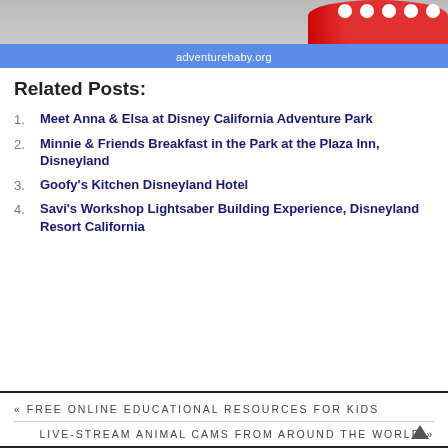[Figure (photo): Top portion of an image showing a red polka-dot Minnie Mouse costume, partially cropped, with a blue banner overlay showing 'adventurebaby.org']
Related Posts:
Meet Anna & Elsa at Disney California Adventure Park
Minnie & Friends Breakfast in the Park at the Plaza Inn, Disneyland
Goofy's Kitchen Disneyland Hotel
Savi's Workshop Lightsaber Building Experience, Disneyland Resort California
« FREE ONLINE EDUCATIONAL RESOURCES FOR KIDS
LIVE-STREAM ANIMAL CAMS FROM AROUND THE WORLD »